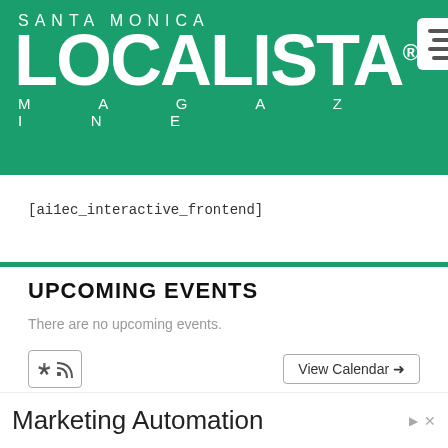SANTA MONICA LOCALISTA® MAGAZINE
[ai1ec_interactive_frontend]
UPCOMING EVENTS
There are no upcoming events.
RSS | View Calendar →
Marketing Automation